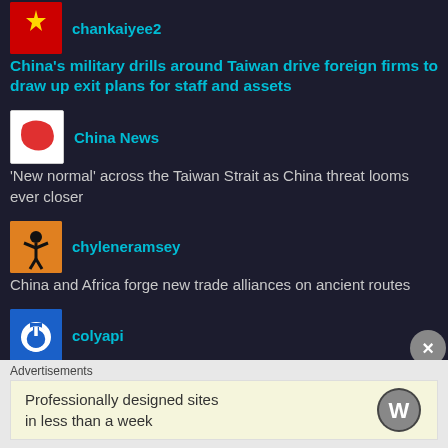chankaiyee2 — China's military drills around Taiwan drive foreign firms to draw up exit plans for staff and assets
China News — 'New normal' across the Taiwan Strait as China threat looms ever closer
chyleneramsey — China and Africa forge new trade alliances on ancient routes
colyapi — Is China on final approach to an economic crisis?
Craig Hill — On This Day In Australia: In 1950, Australia announced
Advertisements
Professionally designed sites in less than a week